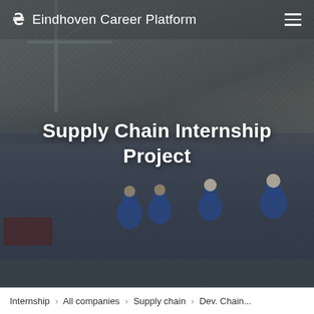Eindhoven Career Platform
[Figure (photo): Industrial workers in blue safety coveralls and helmets walking on a tarmac/airfield, with cranes and vehicles visible in the background. Overcast conditions. The image has a diagonal stripe texture overlay and dark tint.]
Supply Chain Internship Project
Internship > All companies > Supply chain > Dev. Chain...